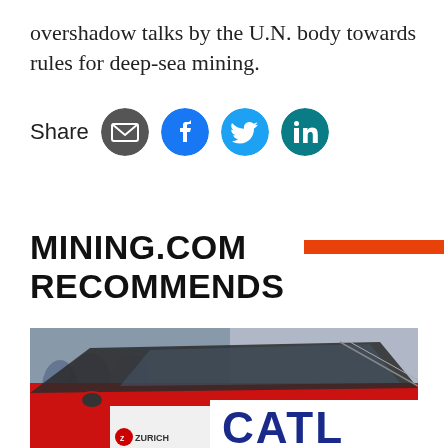overshadow talks by the U.N. body towards rules for deep-sea mining.
[Figure (infographic): Social share bar with email, Facebook, Twitter, and LinkedIn icons]
MINING.COM RECOMMENDS
[Figure (photo): Photo of a red car with CATL branding at what appears to be an auto show, with a Zurich logo visible. People visible in background.]